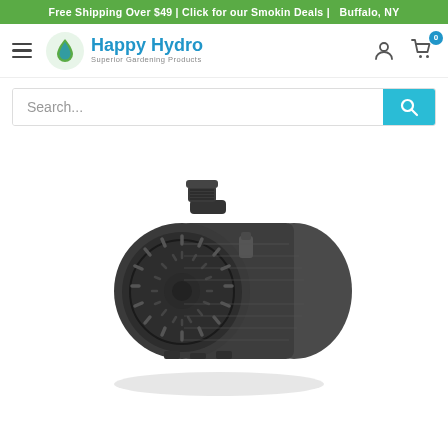Free Shipping Over $49 | Click for our Smokin Deals |   Buffalo, NY
[Figure (logo): Happy Hydro logo with water drop icon and tagline 'Superior Gardening Products']
Search...
[Figure (photo): Black submersible water pump with circular grill face and threaded outlet on top, photographed on white background]